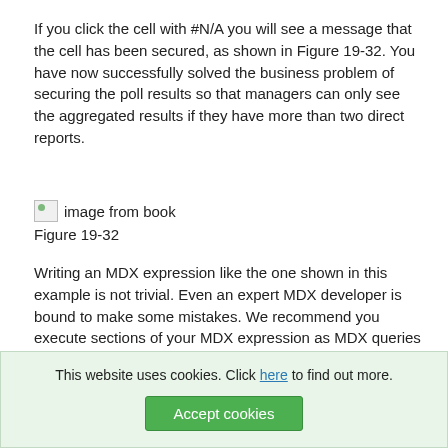If you click the cell with #N/A you will see a message that the cell has been secured, as shown in Figure 19-32. You have now successfully solved the business problem of securing the poll results so that managers can only see the aggregated results if they have more than two direct reports.
[Figure (other): Broken image placeholder labeled 'image from book']
Figure 19-32
Writing an MDX expression like the one shown in this example is not trivial. Even an expert MDX developer is bound to make some mistakes. We recommend you execute sections of your MDX expression as MDX queries or create MDX expressions as calculated members (especially in the cases where the MDX expression contains currentmember), and then ensure the...
you have validated your MDX expressions. You will be